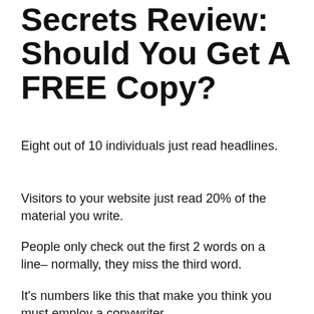Secrets Review: Should You Get A FREE Copy?
Eight out of 10 individuals just read headlines.
Visitors to your website just read 20% of the material you write.
People only check out the first 2 words on a line– normally, they miss the third word.
It's numbers like this that make you think you must employ a copywriter.